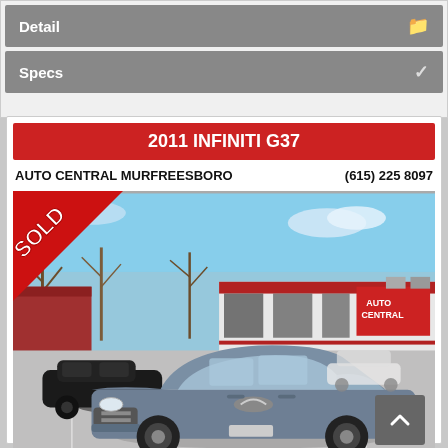Detail
Specs
2011 INFINITI G37
AUTO CENTRAL MURFREESBORO   (615) 225 8097
[Figure (photo): 2011 Infiniti G37 sedan parked in front of Auto Central dealership. A red SOLD diagonal banner overlays the top-left corner. The car is gray/blue, facing the camera. The dealership storefront shows AUTO CENTRAL signage with a red stripe.]